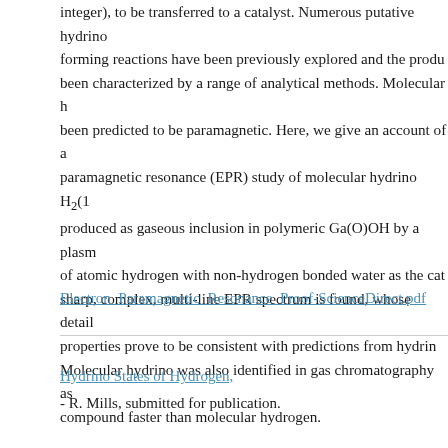integer), to be transferred to a catalyst. Numerous putative hydrino forming reactions have been previously explored and the products been characterized by a range of analytical methods. Molecular hydrino been predicted to be paramagnetic. Here, we give an account of a paramagnetic resonance (EPR) study of molecular hydrino H2(1/4) produced as gaseous inclusion in polymeric Ga(O)OH by a plasma of atomic hydrogen with non-hydrogen bonded water as the catalyst. A sharp, complex, multi-line EPR spectrum is found, whose detailed properties prove to be consistent with predictions from hydrino theory. Molecular hydrino was also identified in gas chromatography as a compound faster than molecular hydrogen.
Electron_Paramagnetic_Resonance_Proof-ScienceDirect.pdf
Hydrino States of Hydrogen,
- R. Mills, submitted for publication.